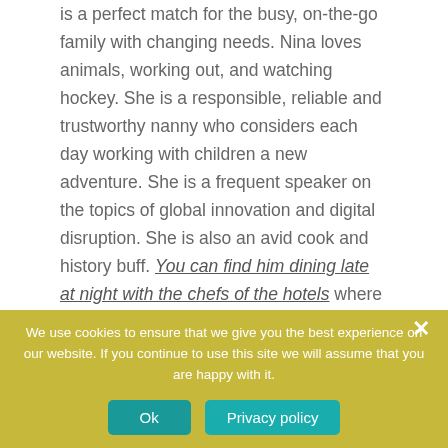is a perfect match for the busy, on-the-go family with changing needs. Nina loves animals, working out, and watching hockey. She is a responsible, reliable and trustworthy nanny who considers each day working with children a new adventure. She is a frequent speaker on the topics of global innovation and digital disruption. She is also an avid cook and history buff. You can find him dining late at night with the chefs of the hotels where he
We use cookies to ensure that we give you the best experience on our website. If you continue to use this site we will assume that you are happy with it.